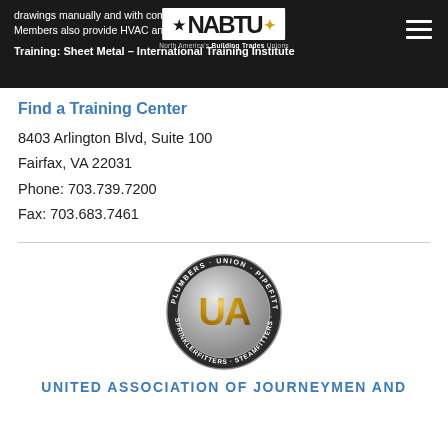drawings manually and with computer programs. Members also provide HVAC and refrigeration service. Training: Sheet Metal – International Training Institute
[Figure (logo): NABTU North America's Building Trades Unions logo with star and maple leaf]
Find a Training Center
8403 Arlington Blvd, Suite 100
Fairfax, VA 22031
Phone: 703.739.7200
Fax: 703.683.7461
[Figure (logo): United Association Plumbers Union Pipefitters Sprinklerfitters Steamfitters Service Techs circular emblem with UA letters]
UNITED ASSOCIATION OF JOURNEYMEN AND